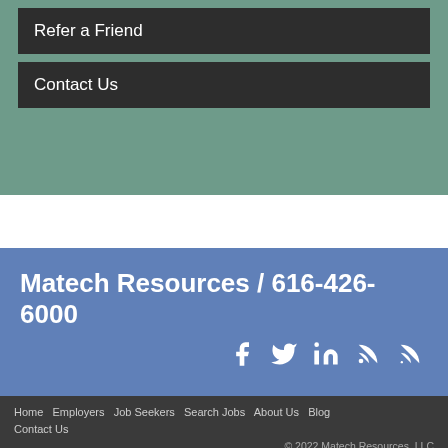Refer a Friend
Contact Us
Matech Resources / 616-426-6000
[Figure (infographic): Social media icons: Facebook, Twitter, LinkedIn, Blog, RSS]
Home  Employers  Job Seekers  Search Jobs  About Us  Blog  Contact Us
© 2022 Matech Resources, LLC